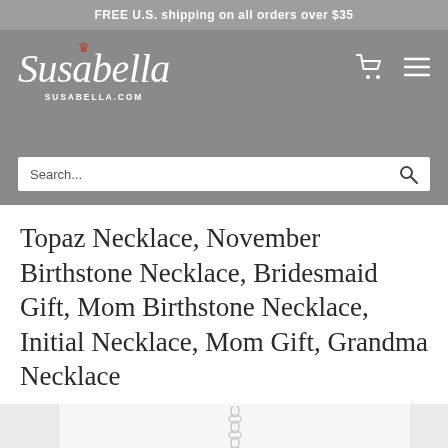FREE U.S. shipping on all orders over $35
[Figure (logo): Susabella cursive script logo with crown and SUSABELLA.COM subtitle, on grey background, with cart and menu icons]
Topaz Necklace, November Birthstone Necklace, Bridesmaid Gift, Mom Birthstone Necklace, Initial Necklace, Mom Gift, Grandma Necklace
[Figure (photo): Product photo of a delicate silver chain necklace on a white/light grey background, showing chain links detail]